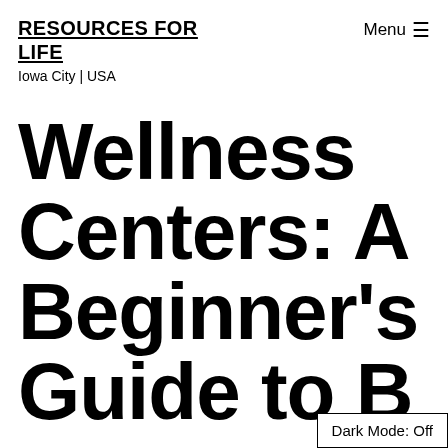RESOURCES FOR LIFE
Iowa City | USA
Wellness Centers: A Beginner's Guide to B…
Dark Mode: Off